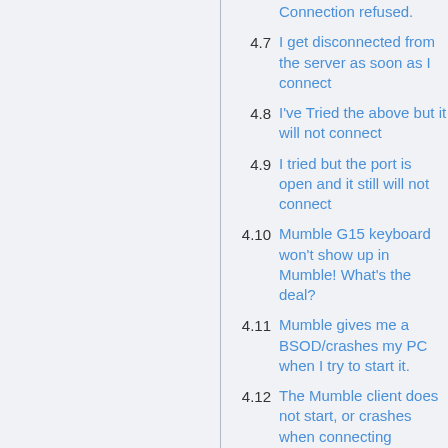Connection refused.
4.7  I get disconnected from the server as soon as I connect
4.8  I've Tried the above but it will not connect
4.9  I tried but the port is open and it still will not connect
4.10  Mumble G15 keyboard won't show up in Mumble! What's the deal?
4.11  Mumble gives me a BSOD/crashes my PC when I try to start it.
4.12  The Mumble client does not start, or crashes when connecting (Windows)
4.13  For some reason my game will crash when I'm running Mumble
4.14  When I run Mumble the volumes of other